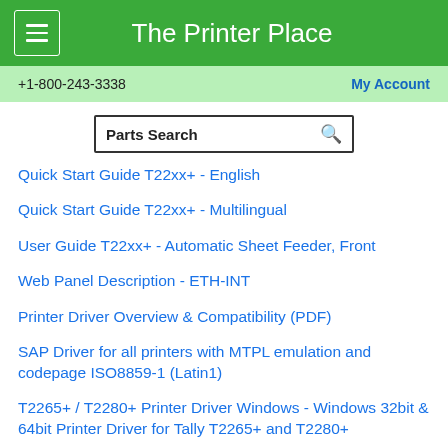The Printer Place
+1-800-243-3338
My Account
Parts Search
Quick Start Guide T22xx+ - English
Quick Start Guide T22xx+ - Multilingual
User Guide T22xx+ - Automatic Sheet Feeder, Front
Web Panel Description - ETH-INT
Printer Driver Overview & Compatibility (PDF)
SAP Driver for all printers with MTPL emulation and codepage ISO8859-1 (Latin1)
T2265+ / T2280+ Printer Driver Windows - Windows 32bit & 64bit Printer Driver for Tally T2265+ and T2280+